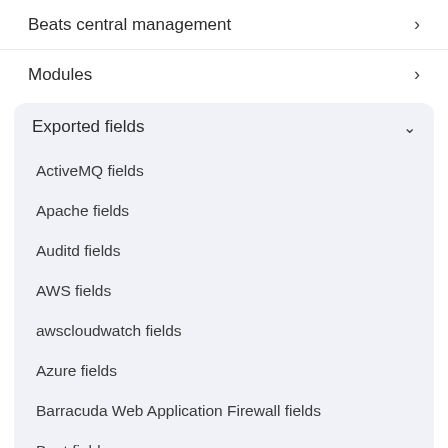Beats central management
Modules
Exported fields
ActiveMQ fields
Apache fields
Auditd fields
AWS fields
awscloudwatch fields
Azure fields
Barracuda Web Application Firewall fields
Beat fields
Blue Coat Director fields
Decode CEF processor fields fields